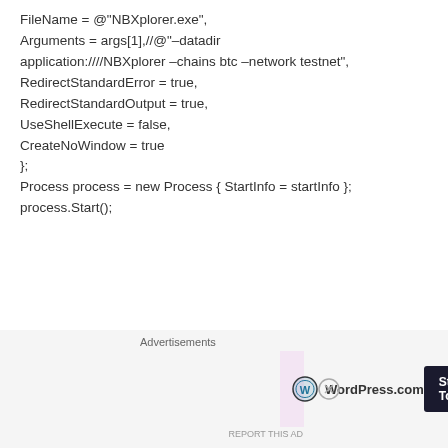FileName = @"NBXplorer.exe",
Arguments = args[1],//@"–datadir application:////NBXplorer –chains btc –network testnet",
RedirectStandardError = true,
RedirectStandardOutput = true,
UseShellExecute = false,
CreateNoWindow = true
};
Process process = new Process { StartInfo = startInfo };
process.Start();
but when it launches NBXplorer.exe it just crashes so quickly cannot see output.
UWP frustrates me with it's restrictiveness! Grrrrr
[Figure (other): WordPress.com advertisement banner with logo and 'Start Today' button on pink/lavender background]